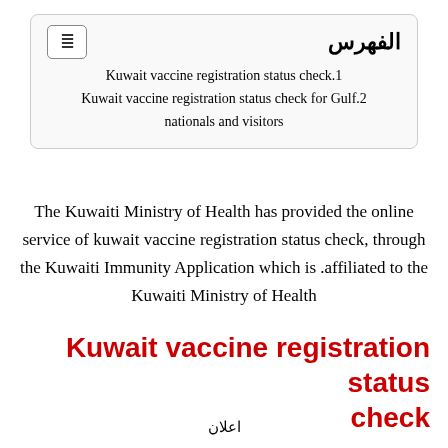[Figure (other): Table of contents box with Arabic title 'الفهرس' and menu icon, listing two items: 'Kuwait vaccine registration status check.1' and 'Kuwait vaccine registration status check for Gulf.2 nationals and visitors']
The Kuwaiti Ministry of Health has provided the online service of kuwait vaccine registration status check, through the Kuwaiti Immunity Application which is affiliated to the Kuwaiti Ministry of Health.
Kuwait vaccine registration status check
اعلان